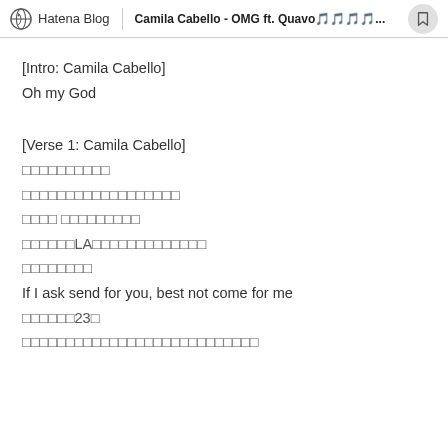Hatena Blog | Camila Cabello - OMG ft. Quavo🎵🎵🎵🎵...
[Intro: Camila Cabello]
Oh my God
[Verse 1: Camila Cabello]
□□□□□□□□□□
□□□□□□□□□□□□□□□□□□
□□□□ □□□□□□□□□
□□□□□□LA□□□□□□□□□□□□□
□□□□□□□□
If I ask send for you, best not come for me
□□□□□□23□
□□□□□□□□□□□□□□□□□□□□□□□□□□□